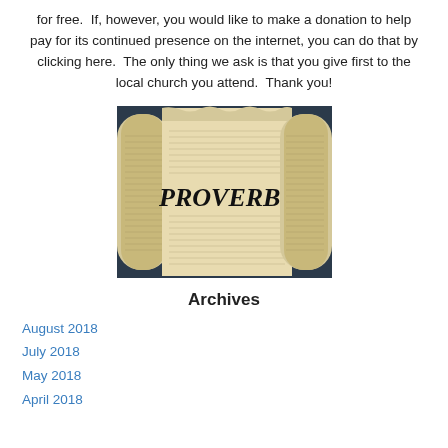for free.  If, however, you would like to make a donation to help pay for its continued presence on the internet, you can do that by clicking here.  The only thing we ask is that you give first to the local church you attend.  Thank you!
[Figure (photo): Ancient scroll photograph with the word PROVERBS overlaid in large bold italic serif text across the center of the image.]
Archives
August 2018
July 2018
May 2018
April 2018